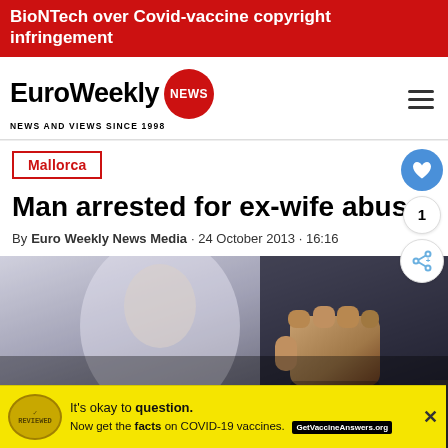BioNTech over Covid-vaccine copyright infringement
[Figure (logo): EuroWeekly NEWS logo — bold text with red circular NEWS badge, tagline 'NEWS AND VIEWS SINCE 1998']
Mallorca
Man arrested for ex-wife abuse
By Euro Weekly News Media · 24 October 2013 · 16:16
[Figure (photo): Blurred photo showing a raised fist in foreground with a distressed woman in the background, dark dramatic lighting]
[Figure (infographic): Yellow advertisement banner: 'It's okay to question. Now get the facts on COVID-19 vaccines. GetVaccineAnswers.org']